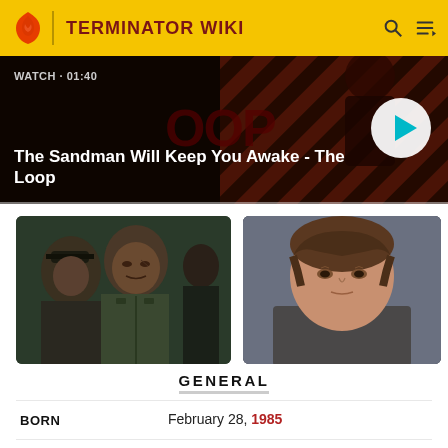TERMINATOR WIKI
[Figure (screenshot): Video banner with dark red patterned background showing 'The Loop' text partially visible. Watch duration label '01:40' shown. Play button circle on right.]
The Sandman Will Keep You Awake - The Loop
[Figure (photo): Two film screenshots side by side. Left: a man in military uniform with another figure behind him. Right: a young boy with brown hair looking thoughtful.]
GENERAL
| Field | Value |
| --- | --- |
| BORN | February 28, 1985 |
| ALIAS | Bear [1] |